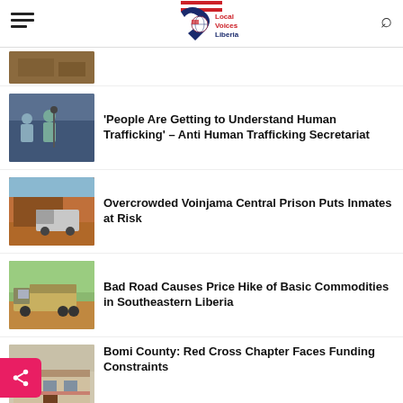Local Voices Liberia
[Figure (photo): Thumbnail image partially visible at top]
'People Are Getting to Understand Human Trafficking' – Anti Human Trafficking Secretariat
[Figure (photo): People at an indoor event with microphones]
Overcrowded Voinjama Central Prison Puts Inmates at Risk
[Figure (photo): Truck/van on a red dirt road near a building]
Bad Road Causes Price Hike of Basic Commodities in Southeastern Liberia
[Figure (photo): Large cargo truck on a dirt road]
Bomi County: Red Cross Chapter Faces Funding Constraints
[Figure (photo): Building exterior photo]